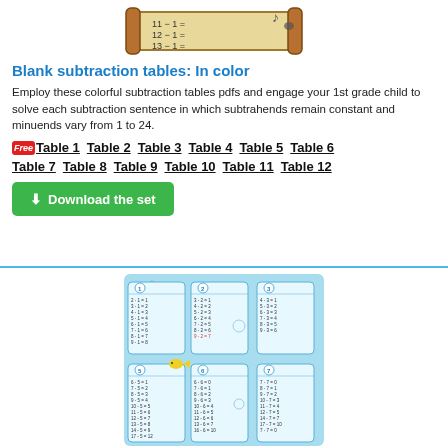[Figure (illustration): A wooden scroll/banner showing subtraction equations: 12-1=, 13-1=, with a small bird/note icon]
Blank subtraction tables: In color
Employ these colorful subtraction tables pdfs and engage your 1st grade child to solve each subtraction sentence in which subtrahends remain constant and minuends vary from 1 to 24.
Free Table 1  Table 2  Table 3  Table 4  Table 5  Table 6  Table 7  Table 8  Table 9  Table 10  Table 11  Table 12
Download the set
[Figure (illustration): A colorful underwater-themed worksheet set showing multiple subtraction tables numbered 1-7 with fish graphics on a blue background]